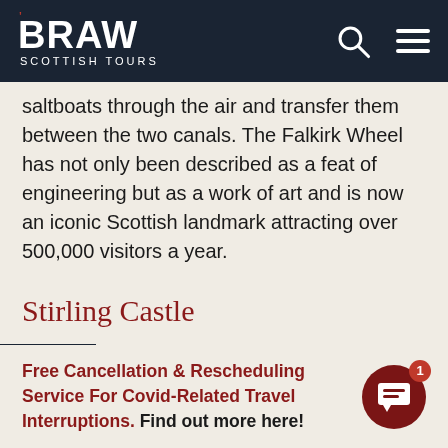BRAW SCOTTISH TOURS
saltboats through the air and transfer them between the two canals. The Falkirk Wheel has not only been described as a feat of engineering but as a work of art and is now an iconic Scottish landmark attracting over 500,000 visitors a year.
Stirling Castle
[Figure (other): Settings/widget icon in dark navy bar]
[truncated text about Stirling Castle]
Free Cancellation & Rescheduling Service For Covid-Related Travel Interruptions. Find out more here!